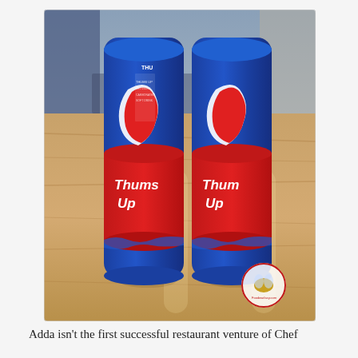[Figure (photo): Two cans of Thums Up (Indian cola beverage) sitting on a wooden table. The cans are tall and slim, predominantly blue with a large red label featuring the Thums Up logo in white text. A circular watermark/logo is visible in the bottom right corner of the image.]
Adda isn't the first successful restaurant venture of Chef